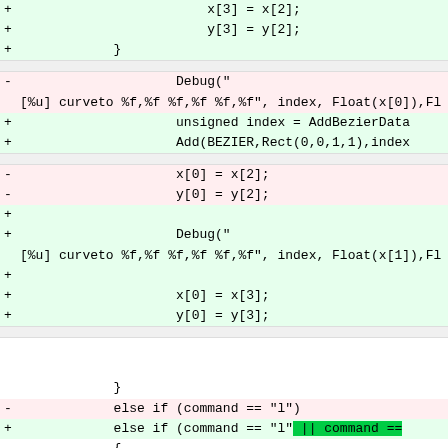Diff view of source code changes including additions and removals to bezier curve and lineto command handling
[Figure (screenshot): Code diff showing additions of x[3]=x[2], y[3]=y[2], Debug bezier curveto lines, unsigned index = AddBezierData, Add(BEZIER,...), x[0]=x[2], y[0]=y[2], Debug curveto with x[1], x[0]=x[3], y[0]=y[3], closing brace, else if command==l changed to include || command== with green highlight]